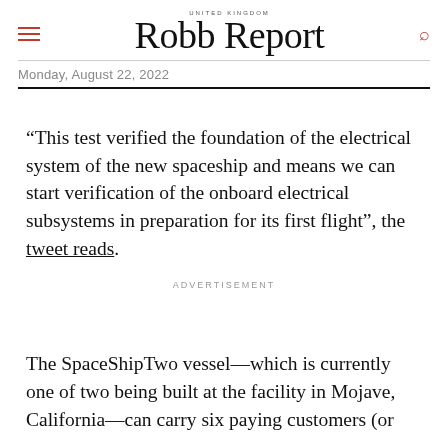UNITED KINGDOM
Robb Report
Monday, August 22, 2022
“This test verified the foundation of the electrical system of the new spaceship and means we can start verification of the onboard electrical subsystems in preparation for its first flight”, the tweet reads.
ADVERTISEMENT
The SpaceShipTwo vessel—which is currently one of two being built at the facility in Mojave, California—can carry six paying customers (or